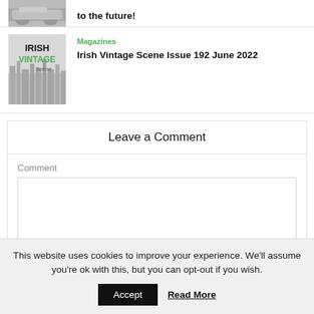[Figure (photo): Partial top of a vintage car article card with a grayscale car image and text 'to the future!']
to the future!
[Figure (logo): Irish Vintage Scene magazine cover thumbnail with logo showing 'IRISH VINTAGE Scene' text over a city skyline background]
Magazines
Irish Vintage Scene Issue 192 June 2022
Leave a Comment
Comment
This website uses cookies to improve your experience. We'll assume you're ok with this, but you can opt-out if you wish.
Accept
Read More